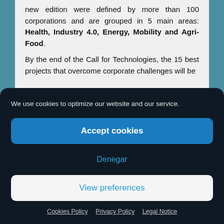new edition were defined by more than 100 corporations and are grouped in 5 main areas: Health, Industry 4.0, Energy, Mobility and Agri-Food.
By the end of the Call for Technologies, the 15 best projects that overcome corporate challenges will be
We use cookies to optimize our website and our service.
Accept cookies
Denegar
View preferences
Cookies Policy   Privacy Policy   Legal Notice